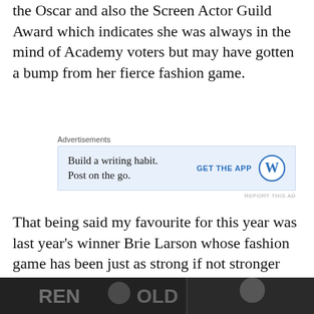the Oscar and also the Screen Actor Guild Award which indicates she was always in the mind of Academy voters but may have gotten a bump from her fierce fashion game.
[Figure (other): Advertisement box: 'Build a writing habit. Post on the go.' with 'GET THE APP' call to action and WordPress logo on blue background.]
That being said my favourite for this year was last year's winner Brie Larson whose fashion game has been just as strong if not stronger than the year she was in competition. The dress was by Rodarte, a luxury label started in 2005 by designers and sisters Kate and Laura Mulleavy that's already scooped up many accolades. The ballet costumes in Black Swan...yeah they did those.
[Figure (photo): Partial bottom image showing what appears to be people at an event, dark background with partial text visible.]